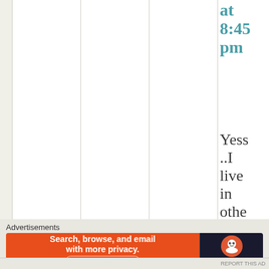at 8:45 pm
Yess..I live in othe city for stud purp
[Figure (screenshot): Calendar/schedule grid with vertical columns and light dividers, olive/tan background]
Advertisements
[Figure (screenshot): DuckDuckGo advertisement banner: 'Search, browse, and email with more privacy. All in One Free App' with DuckDuckGo logo on dark right panel]